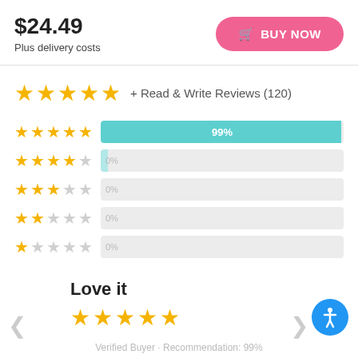$24.49
Plus delivery costs
BUY NOW
★★★★★ + Read & Write Reviews (120)
[Figure (bar-chart): Star rating breakdown]
Love it
★★★★★